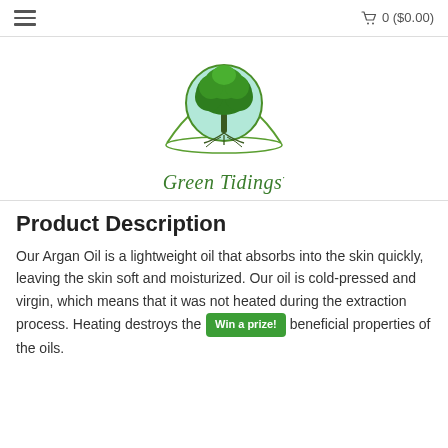≡   🛒 0 ($0.00)
[Figure (logo): Green Tidings logo: a circular emblem with a tree and roots on a light teal/mint background, surrounded by arching green lines and the text 'Green Tidings' in italic serif font below]
Product Description
Our Argan Oil is a lightweight oil that absorbs into the skin quickly, leaving the skin soft and moisturized. Our oil is cold-pressed and virgin, which means that it was not heated during the extraction process. Heating destroys the beneficial properties of the oils.